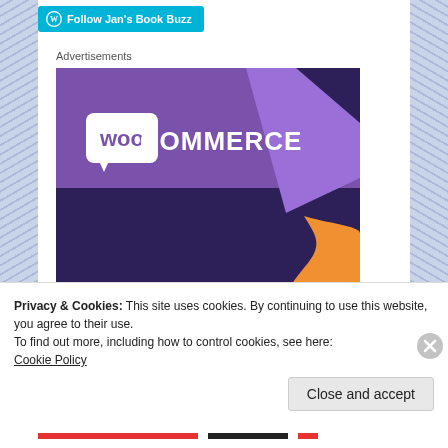Follow Jan's Book Buzz
Advertisements
[Figure (illustration): WooCommerce advertisement banner with purple and dark navy background, WooCommerce logo in white at top, orange decorative shape at bottom right, text 'Turn your hobby' in white bold at bottom]
Privacy & Cookies: This site uses cookies. By continuing to use this website, you agree to their use.
To find out more, including how to control cookies, see here:
Cookie Policy
Close and accept